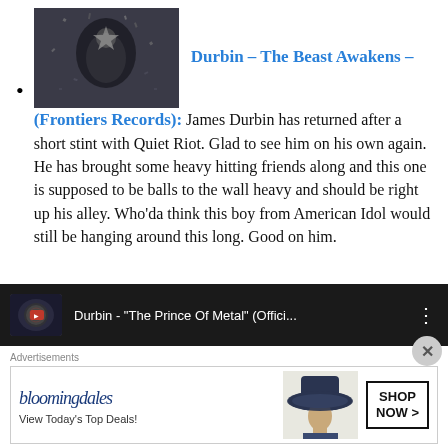Durbin – The Beast Awakens – (Frontiers Records): James Durbin has returned after a short stint with Quiet Riot. Glad to see him on his own again. He has brought some heavy hitting friends along and this one is supposed to be balls to the wall heavy and should be right up his alley. Who'da think this boy from American Idol would still be hanging around this long. Good on him.
[Figure (screenshot): Embedded YouTube video player showing Durbin - The Prince Of Metal (Offici...]
[Figure (illustration): Bloomingdales advertisement banner: View Today's Top Deals! SHOP NOW >]